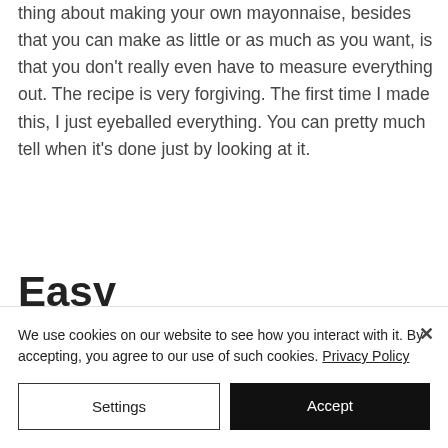thing about making your own mayonnaise, besides that you can make as little or as much as you want, is that you don't really even have to measure everything out. The recipe is very forgiving. The first time I made this, I just eyeballed everything. You can pretty much tell when it's done just by looking at it.
Easy
We use cookies on our website to see how you interact with it. By accepting, you agree to our use of such cookies. Privacy Policy